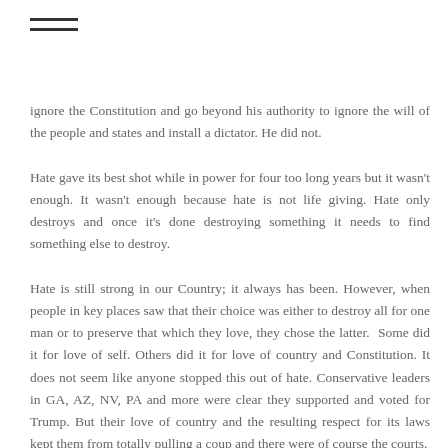≡
ignore the Constitution and go beyond his authority to ignore the will of the people and states and install a dictator. He did not.
Hate gave its best shot while in power for four too long years but it wasn't enough. It wasn't enough because hate is not life giving. Hate only destroys and once it's done destroying something it needs to find something else to destroy.
Hate is still strong in our Country; it always has been. However, when people in key places saw that their choice was either to destroy all for one man or to preserve that which they love, they chose the latter.  Some did it for love of self. Others did it for love of country and Constitution. It does not seem like anyone stopped this out of hate. Conservative leaders in GA, AZ, NV, PA and more were clear they supported and voted for Trump. But their love of country and the resulting respect for its laws kept them from totally pulling a coup and there were of course the courts.